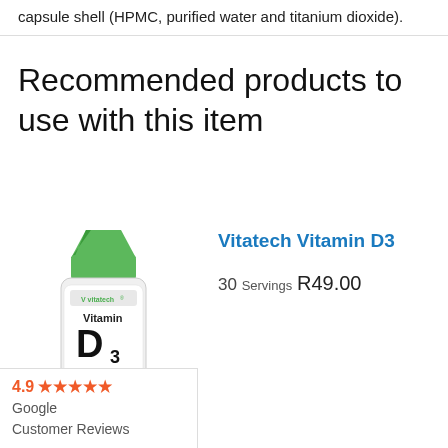capsule shell (HPMC, purified water and titanium dioxide).
Recommended products to use with this item
[Figure (photo): Vitatech Vitamin D3 supplement bottle with green cap and white label]
Vitatech Vitamin D3
30 Servings R49.00
4.9 ★★★★★ Google Customer Reviews